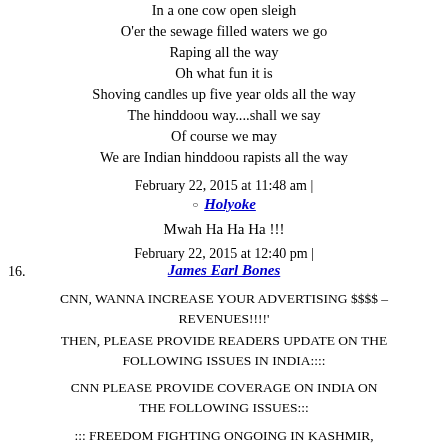In a one cow open sleigh
O'er the sewage filled waters we go
Raping all the way
Oh what fun it is
Shoving candles up five year olds all the way
The hinddoou way....shall we say
Of course we may
We are Indian hinddoou rapists all the way
February 22, 2015 at 11:48 am |
Holyoke
Mwah Ha Ha Ha !!!
February 22, 2015 at 12:40 pm |
16.
James Earl Bones
CNN, WANNA INCREASE YOUR ADVERTISING $$$$ – REVENUES!!!!'
THEN, PLEASE PROVIDE READERS UPDATE ON THE FOLLOWING ISSUES IN INDIA::::
CNN PLEASE PROVIDE COVERAGE ON INDIA ON THE FOLLOWING ISSUES:::
::: FREEDOM FIGHTING ONGOING IN KASHMIR,